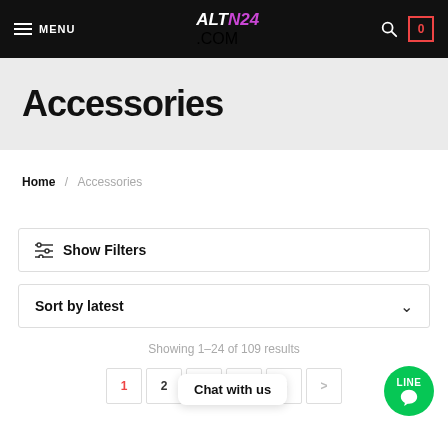MENU | ALTN24.COM | 0
Accessories
Home / Accessories
Show Filters
Sort by latest
Showing 1–24 of 109 results
1 2 3 4 5 >
Chat with us